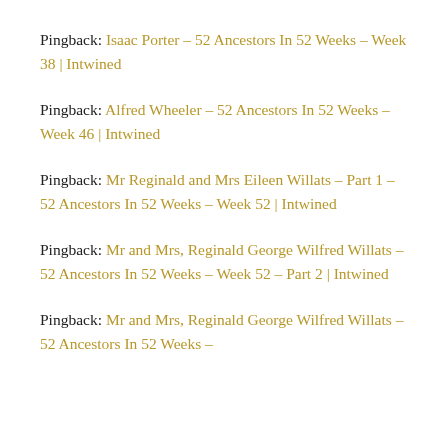Pingback: Isaac Porter – 52 Ancestors In 52 Weeks – Week 38 | Intwined
Pingback: Alfred Wheeler – 52 Ancestors In 52 Weeks – Week 46 | Intwined
Pingback: Mr Reginald and Mrs Eileen Willats – Part 1 – 52 Ancestors In 52 Weeks – Week 52 | Intwined
Pingback: Mr and Mrs, Reginald George Wilfred Willats – 52 Ancestors In 52 Weeks – Week 52 – Part 2 | Intwined
Pingback: Mr and Mrs, Reginald George Wilfred Willats – 52 Ancestors In 52 Weeks –